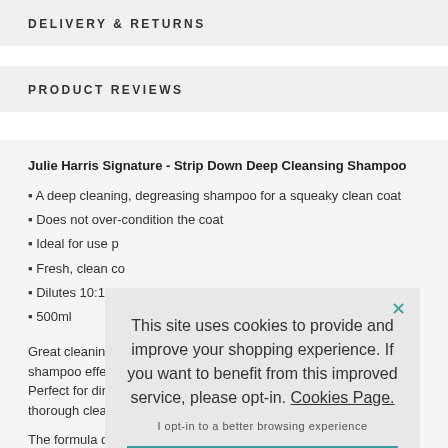DELIVERY & RETURNS
PRODUCT REVIEWS
Julie Harris Signature - Strip Down Deep Cleansing Shampoo
A deep cleaning, degreasing shampoo for a squeaky clean coat
Does not over-condition the coat
Ideal for use p...
Fresh, clean co...
Dilutes 10:1 wi...
500ml
Great cleaning p... shampoo effect... Perfect for dirty... thorough clean.
The formula do... more manageable... and easy to groom. This shampoo is ideal for...
This site uses cookies to provide and improve your shopping experience. If you want to benefit from this improved service, please opt-in. Cookies Page.
I opt-in to a better browsing experience
ACCEPT COOKIES